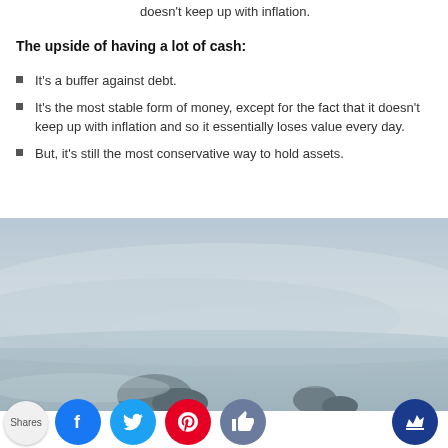doesn't keep up with inflation.
The upside of having a lot of cash:
It's a buffer against debt.
It's the most stable form of money, except for the fact that it doesn't keep up with inflation and so it essentially loses value every day.
But, it's still the most conservative way to hold assets.
[Figure (photo): Misty coastal landscape with rocks and sea fog, muted blue-grey tones]
[Figure (infographic): Social sharing bar showing Shares label and buttons: Facebook (blue), Twitter (light blue), Pinterest (red), thumbs-up (grey-blue), crown/MeWe (dark blue)]